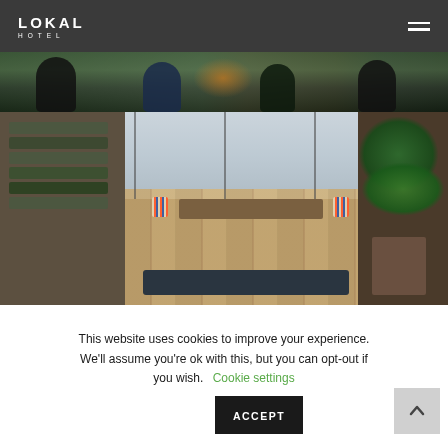LOKAL HOTEL
[Figure (photo): People sitting outdoors in a wooded area, wearing winter jackets]
[Figure (photo): Overhead view of a cabin or studio interior with large windows, wooden floors, plants, kayaks/canoes leaning on wall, striped chairs, and a coffee table]
This website uses cookies to improve your experience. We'll assume you're ok with this, but you can opt-out if you wish. Cookie settings ACCEPT